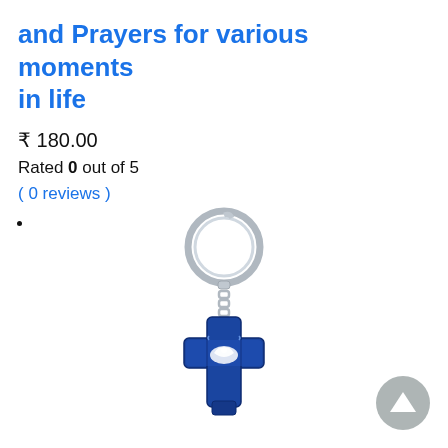and Prayers for various moments in life
₹ 180.00
Rated 0 out of 5
( 0 reviews )
[Figure (photo): A blue enamel cross keychain with a dove design, attached to a silver metal key ring via a small chain.]
[Figure (other): Gray circular scroll-to-top button with an upward triangle arrow icon.]